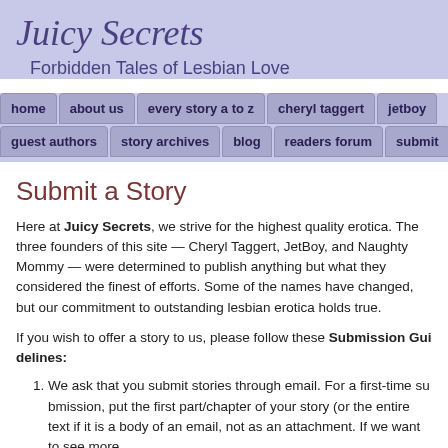Juicy Secrets
Forbidden Tales of Lesbian Love
home | about us | every story a to z | cheryl taggert | jetboy | guest authors | story archives | blog | readers forum | submit
Submit a Story
Here at Juicy Secrets, we strive for the highest quality erotica. The three founders of this site — Cheryl Taggert, JetBoy, and Naughty Mommy — were determined to publish anything but what they considered the finest of efforts. Some of the names have changed, but our commitment to outstanding lesbian erotica holds true.
If you wish to offer a story to us, please follow these Submission Guidelines:
We ask that you submit stories through email. For a first-time submission, put the first part/chapter of your story (or the entire text if it is a short story) in the body of an email, not as an attachment. If we want to see more